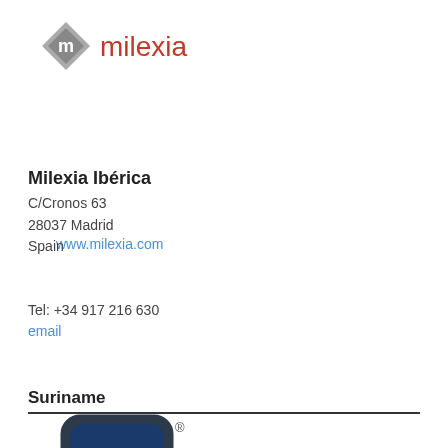[Figure (logo): Milexia logo: grey diamond shape with white M, red 'milexia' wordmark]
www.milexia.com
Milexia Ibérica
C/Cronos 63
28037 Madrid
Spain
Tel: +34 917 216 630
email
Suriname
[Figure (logo): TTI logo: bold 'tti' letters in dark blue square with rounded rectangle border, registered trademark symbol]